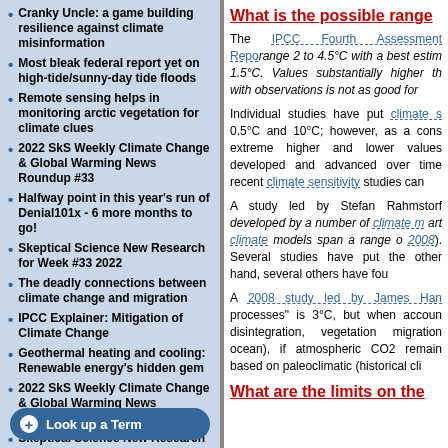Cranky Uncle: a game building resilience against climate misinformation
Most bleak federal report yet on high-tide/sunny-day tide floods
Remote sensing helps in monitoring arctic vegetation for climate clues
2022 SkS Weekly Climate Change & Global Warming News Roundup #33
Halfway point in this year's run of Denial101x - 6 more months to go!
Skeptical Science New Research for Week #33 2022
The deadly connections between climate change and migration
IPCC Explainer: Mitigation of Climate Change
Geothermal heating and cooling: Renewable energy's hidden gem
2022 SkS Weekly Climate Change & Global Warming News Roundup #32
Skeptical Science New Research for Week #32 2022
What on Earth is up with Heatwaves?
What is the possible range
The IPCC Fourth Assessment Report range 2 to 4.5°C with a best estimate 1.5°C. Values substantially higher than with observations is not as good for
Individual studies have put climate s 0.5°C and 10°C; however, as a cons extreme higher and lower values developed and advanced over time recent climate sensitivity studies can
A study led by Stefan Rahmstorf developed by a number of climate m art climate models span a range o 2008). Several studies have put the other hand, several others have fou
A 2008 study led by James Han processes" is 3°C, but when accoun disintegration, vegetation migration ocean), if atmospheric CO2 remain based on paleoclimatic (historical cli
What are the limits on the